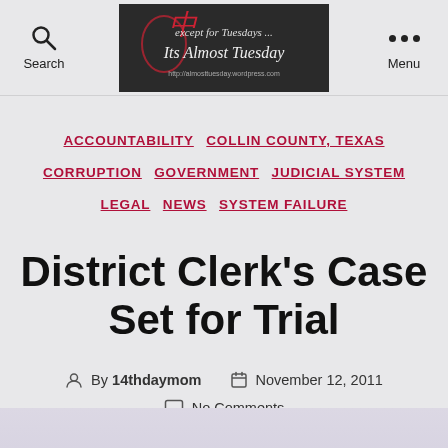Search | Its Almost Tuesday blog logo | Menu
ACCOUNTABILITY  COLLIN COUNTY, TEXAS  CORRUPTION  GOVERNMENT  JUDICIAL SYSTEM  LEGAL  NEWS  SYSTEM FAILURE
District Clerk's Case Set for Trial
By 14thdaymom   November 12, 2011
No Comments